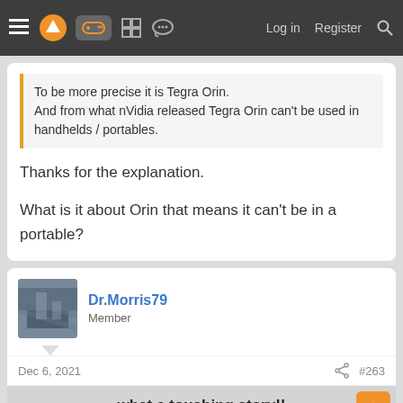Navigation bar with logo, controller icon, forum icons, Log in, Register, Search
To be more precise it is Tegra Orin.
And from what nVidia released Tegra Orin can't be used in handhelds / portables.
Thanks for the explanation.

What is it about Orin that means it can't be in a portable?
Dr.Morris79
Member
Dec 6, 2021
#263
[Figure (screenshot): Embedded image showing text: 'what a touching story!! a young boy from Thailand dreamed about having a Nintendo switch. Due to not having good']